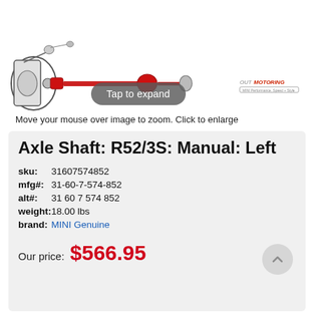[Figure (illustration): Technical illustration of an axle shaft/CV axle with red boot shown diagonally, automotive part diagram on white background]
Move your mouse over image to zoom. Click to enlarge
Axle Shaft: R52/3S: Manual: Left
sku:  31607574852
mfg#:  31-60-7-574-852
alt#:  31 60 7 574 852
weight:  18.00 lbs
brand:  MINI Genuine
Our price: $566.95